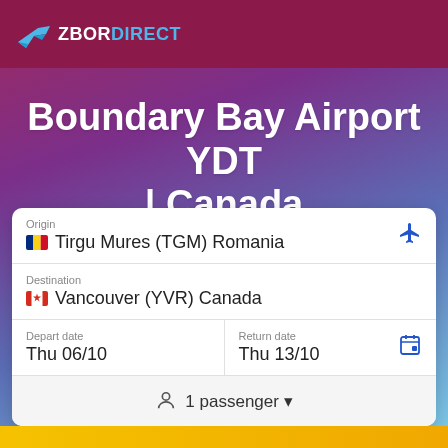[Figure (logo): ZborDirect logo with airplane icon and brand name]
Boundary Bay Airport YDT | Canada
Origin: Tirgu Mures (TGM) Romania
Destination: Vancouver (YVR) Canada
Depart date: Thu 06/10
Return date: Thu 13/10
1 passenger